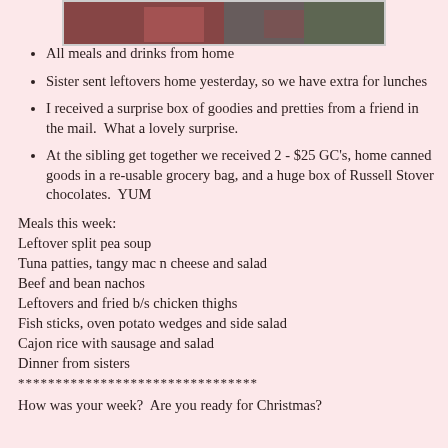[Figure (photo): Partial photo at top of page showing people at what appears to be a holiday gathering, cropped at top]
All meals and drinks from home
Sister sent leftovers home yesterday, so we have extra for lunches
I received a surprise box of goodies and pretties from a friend in the mail.  What a lovely surprise.
At the sibling get together we received 2 - $25 GC's, home canned goods in a re-usable grocery bag, and a huge box of Russell Stover chocolates.  YUM
Meals this week:
Leftover split pea soup
Tuna patties, tangy mac n cheese and salad
Beef and bean nachos
Leftovers and fried b/s chicken thighs
Fish sticks, oven potato wedges and side salad
Cajon rice with sausage and salad
Dinner from sisters
********************************
How was your week?  Are you ready for Christmas?